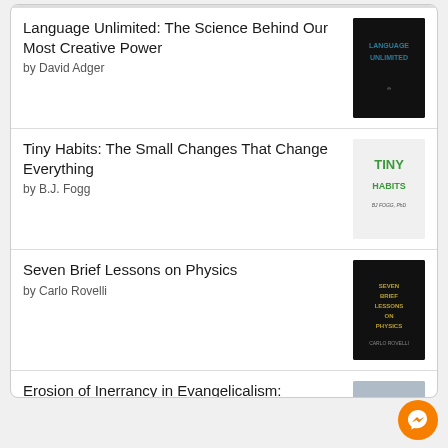Language Unlimited: The Science Behind Our Most Creative Power by David Adger
Tiny Habits: The Small Changes That Change Everything by B.J. Fogg
Seven Brief Lessons on Physics by Carlo Rovelli
Erosion of Inerrancy in Evangelicalism: Responding to New Challenges to Biblical Authority by G.K. Beale
[Figure (logo): goodreads logo in a rounded rectangle button]
[Figure (illustration): Orange circular Messenger chat button]